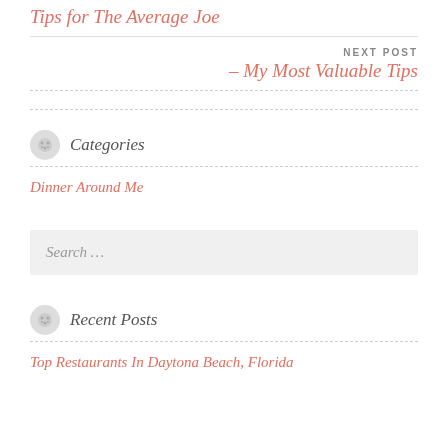Tips for The Average Joe
NEXT POST
– My Most Valuable Tips
Categories
Dinner Around Me
Search …
Recent Posts
Top Restaurants In Daytona Beach, Florida